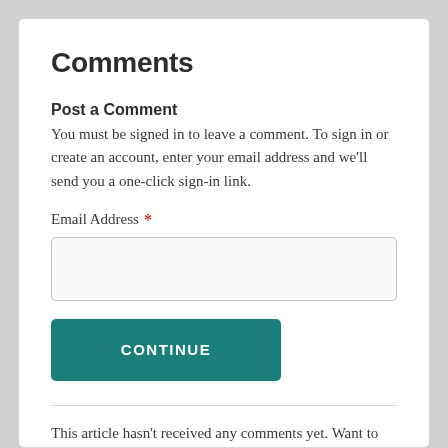Comments
Post a Comment
You must be signed in to leave a comment. To sign in or create an account, enter your email address and we'll send you a one-click sign-in link.
Email Address *
CONTINUE
This article hasn't received any comments yet. Want to start the conversation?